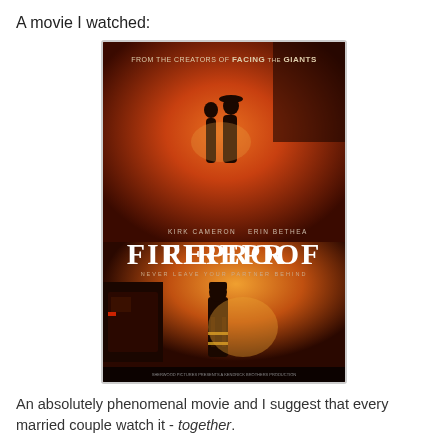A movie I watched:
[Figure (photo): Movie poster for Fireproof. Top text reads 'FROM THE CREATORS OF FACING THE GIANTS'. Shows two silhouetted figures embracing against a fiery orange background. Below: 'KIRK CAMERON   ERIN BETHEA' with large title 'FIREPROOF' and tagline 'NEVER LEAVE YOUR PARTNER BEHIND'. Bottom section shows a firefighter walking toward flames with a fire truck.]
An absolutely phenomenal movie and I suggest that every married couple watch it - together.
A moment I will always remember: When Sam and Julie